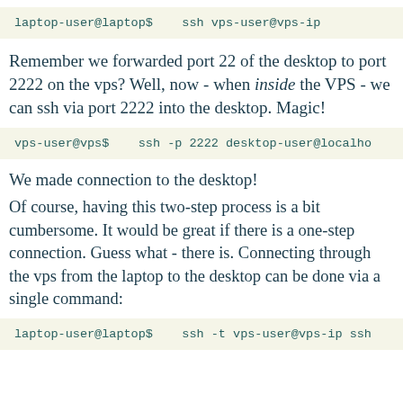laptop-user@laptop$    ssh vps-user@vps-ip
Remember we forwarded port 22 of the desktop to port 2222 on the vps? Well, now - when inside the VPS - we can ssh via port 2222 into the desktop. Magic!
vps-user@vps$    ssh -p 2222 desktop-user@localhost
We made connection to the desktop!
Of course, having this two-step process is a bit cumbersome. It would be great if there is a one-step connection. Guess what - there is. Connecting through the vps from the laptop to the desktop can be done via a single command:
laptop-user@laptop$    ssh -t vps-user@vps-ip ssh